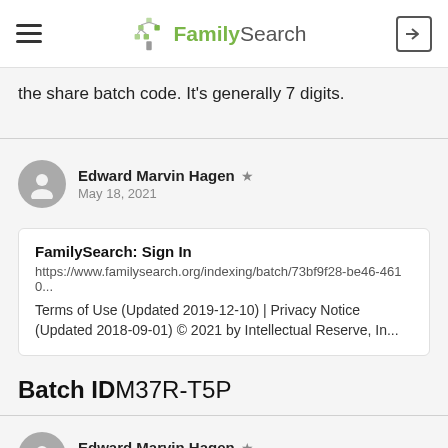FamilySearch
the share batch code. It's generally 7 digits.
Edward Marvin Hagen ★
May 18, 2021
FamilySearch: Sign In
https://www.familysearch.org/indexing/batch/73bf9f28-be46-4610...
Terms of Use (Updated 2019-12-10) | Privacy Notice (Updated 2018-09-01) © 2021 by Intellectual Reserve, In...
Batch IDM37R-T5P
Edward Marvin Hagen ★
May 18, 2021